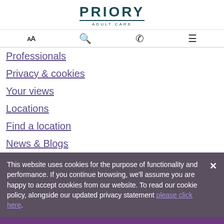PRIORY ADULT CARE
Professionals
Privacy & cookies
Your views
Locations
Find a location
News & Blogs
This website uses cookies for the purpose of functionality and performance. If you continue browsing, we'll assume you are happy to accept cookies from our website. To read our cookie policy, alongside our updated privacy statement please click here.
Call us now